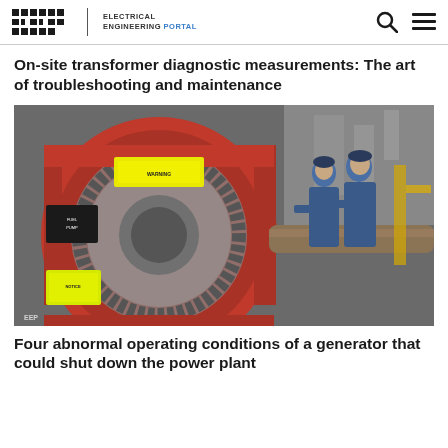EEP | ELECTRICAL ENGINEERING PORTAL
On-site transformer diagnostic measurements: The art of troubleshooting and maintenance
[Figure (photo): Two engineers in blue work uniforms inspecting a large red industrial generator or turbine in a power plant facility. The machine shows a large red circular housing with gears and a shaft, with yellow warning labels visible.]
Four abnormal operating conditions of a generator that could shut down the power plant